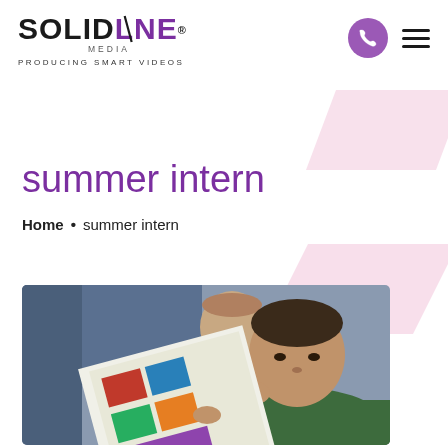SOLIDLINE MEDIA — PRODUCING SMART VIDEOS — navigation header
summer intern
Home • summer intern
[Figure (photo): Two men on what appears to be an airplane, one in a green shirt in the foreground holding a newspaper/magazine close to his face, and another man in a white shirt visible behind him looking on.]